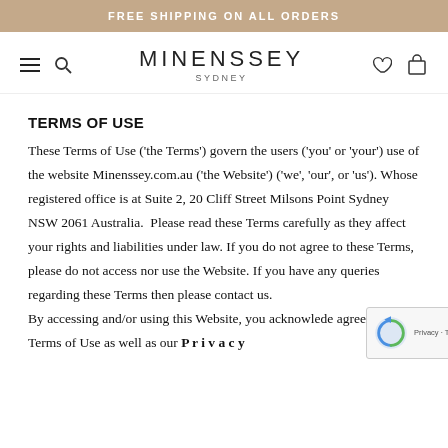FREE SHIPPING ON ALL ORDERS
[Figure (logo): Minenssey Sydney brand logo with navigation icons (hamburger menu, search, heart/wishlist, shopping bag)]
TERMS OF USE
These Terms of Use ('the Terms') govern the users ('you' or 'your') use of the website Minenssey.com.au ('the Website') ('we', 'our', or 'us'). Whose registered office is at Suite 2, 20 Cliff Street Milsons Point Sydney NSW 2061 Australia. Please read these Terms carefully as they affect your rights and liabilities under law. If you do not agree to these Terms, please do not access nor use the Website. If you have any queries regarding these Terms then please contact us.
By accessing and/or using this Website, you acknowledge agree to these Terms of Use as well as our Privacy